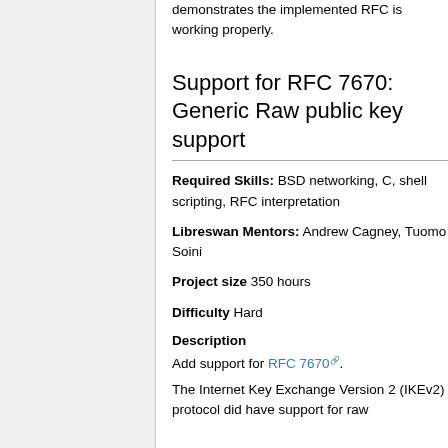demonstrates the implemented RFC is working properly.
Support for RFC 7670: Generic Raw public key support
Required Skills: BSD networking, C, shell scripting, RFC interpretation
Libreswan Mentors: Andrew Cagney, Tuomo Soini
Project size 350 hours
Difficulty Hard
Description
Add support for RFC 7670.
The Internet Key Exchange Version 2 (IKEv2) protocol did have support for raw